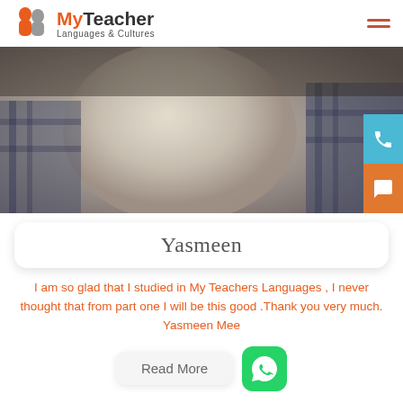[Figure (logo): MyTeacher Languages & Cultures logo with two face silhouettes in orange and grey]
[Figure (photo): Close-up photo of a person wearing a light cream headscarf and plaid shirt]
Yasmeen
I am so glad that I studied in My Teachers Languages , I never thought that from part one I will be this good .Thank you very much. Yasmeen Mee
Read More